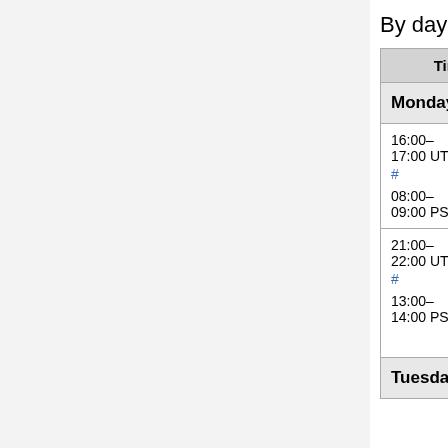By day
| Time | Component | Deployer |
| --- | --- | --- |
| Monday, February 01 |  |  |
| 16:00–17:00 UTC #
08:00–09:00 PST | Morning SWAT (Max 8 patches) | Brad (anomie), (ostriches), (thcipriani), (marktraceur), Alex (Krenair... |
| 21:00–22:00 UTC #
13:00–14:00 PST | Services – Parsoid / OCG / Citoid / Mobileapps / ... | Gabriel (gwick...), C.Scott (cscot...), Arlo (arlolra...), Subbu (subbu...), Bernd (bearND...), Michael (mdholloway) |
| Tuesday, February 02 |  |  |